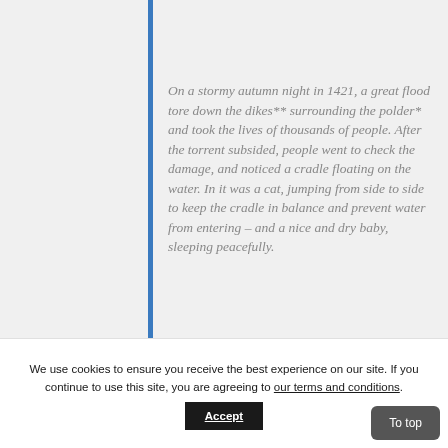On a stormy autumn night in 1421, a great flood tore down the dikes** surrounding the polder* and took the lives of thousands of people. After the torrent subsided, people went to check the damage, and noticed a cradle floating on the water. In it was a cat, jumping from side to side to keep the cradle in balance and prevent water from entering – and a nice and dry baby, sleeping peacefully.
We use cookies to ensure you receive the best experience on our site. If you continue to use this site, you are agreeing to our terms and conditions.